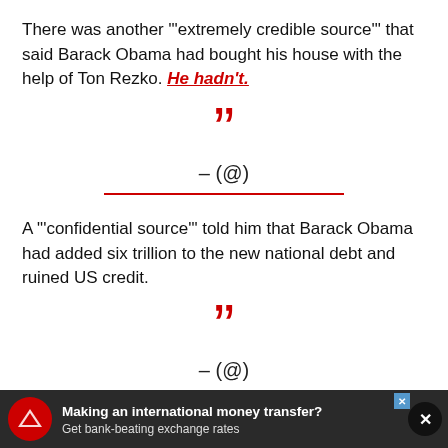There was another "'extremely credible source'" that said Barack Obama had bought his house with the help of Ton Rezko. He hadn't.
[Figure (illustration): Large red closing quotation marks followed by attribution line '— (@)']
A "'confidential source'" told him that Barack Obama had added six trillion to the new national debt and ruined US credit.
[Figure (illustration): Large red closing quotation marks followed by attribution line '— (@)']
Making an international money transfer? Get bank-beating exchange rates